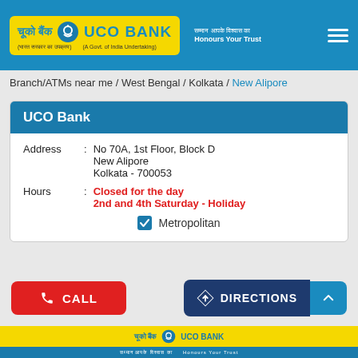[Figure (logo): UCO Bank logo with Hindi text and yellow background, on blue header with hamburger menu]
Branch/ATMs near me / West Bengal / Kolkata / New Alipore
UCO Bank
| Address | : | No 70A, 1st Floor, Block D
New Alipore
Kolkata - 700053 |
| Hours | : | Closed for the day
2nd and 4th Saturday - Holiday |
Metropolitan
[Figure (other): CALL button (red) and DIRECTIONS button (dark blue) with up arrow button]
[Figure (logo): UCO Bank footer banner with yellow and blue sections]